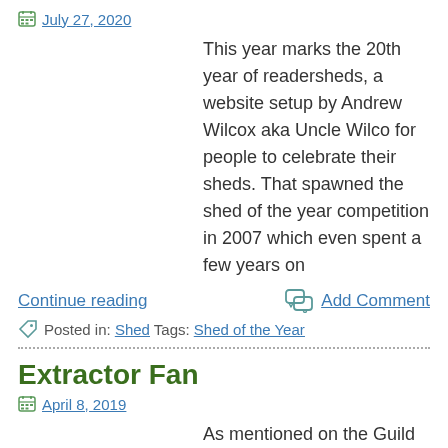July 27, 2020
This year marks the 20th year of readersheds, a website setup by Andrew Wilcox aka Uncle Wilco for people to celebrate their sheds. That spawned the shed of the year competition in 2007 which even spent a few years on
Continue reading
Add Comment
Posted in: Shed Tags: Shed of the Year
Extractor Fan
April 8, 2019
As mentioned on the Guild of Makers Conference post, I picked up an extractor fan at the swap